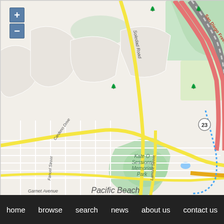[Figure (map): Street map of Pacific Beach, San Diego area showing Kate O Sessions Memorial Park, San Diego Freeway, Morena Boulevard, Soledad Road, Lamont Street, Garnet Avenue, Grand Avenue, Fanuel Street, Cardeno Drive, Rose Inlet, and route number 23. Map includes zoom controls (+/-) in upper left corner.]
home   browse   search   news   about us   contact us